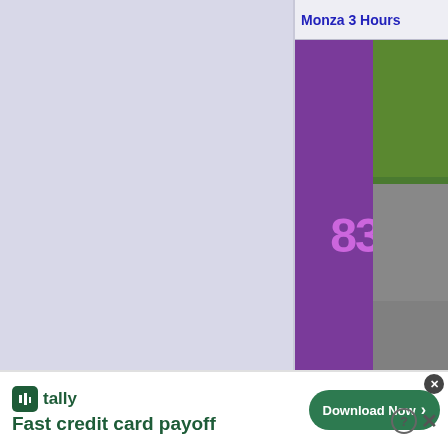Monza 3 Hours
[Figure (photo): Racing car number 83, a white Porsche with blue and red livery, on track at Monza with green grass background]
Photo updated: 30/06/2012
Spa 6 Hours
[Figure (photo): Racing car partially visible at Spa circuit]
[Figure (screenshot): Advertisement banner: tally - Fast credit card payoff - Download Now button]